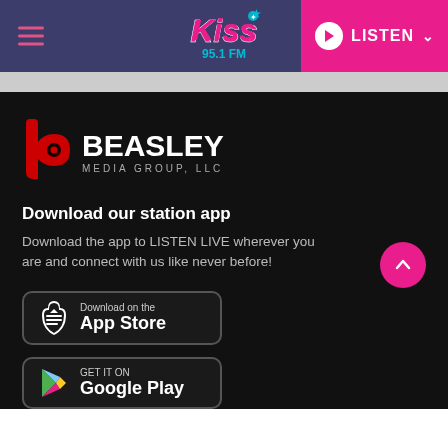Kiss 95.1 FM — LISTEN
[Figure (logo): Beasley Media Group LLC logo with red 'b' icon and white BEASLEY MEDIA GROUP, LLC text]
Download our station app
Download the app to LISTEN LIVE wherever you are and connect with us like never before!
[Figure (logo): Download on the App Store badge]
[Figure (logo): GET IT ON Google Play badge]